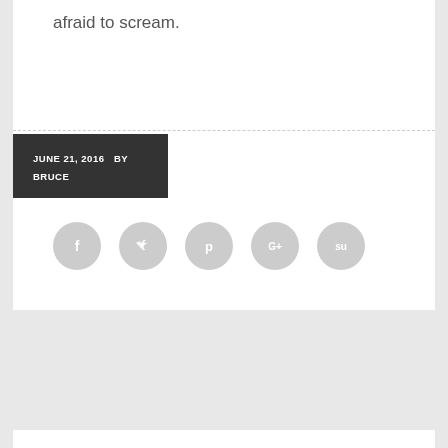afraid to scream.
JUNE 21, 2016  BY BRUCE
[Figure (infographic): Five social media share icon circles (Facebook, Twitter, Pinterest, Google+, StumbleUpon) in light gray]